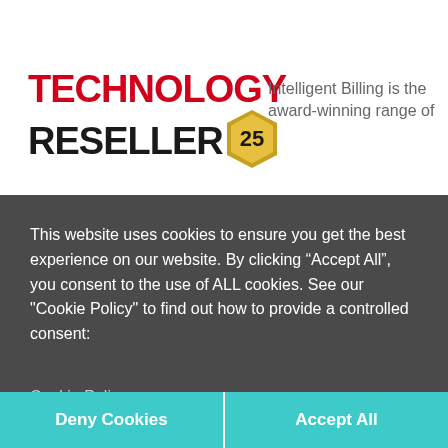[Figure (logo): Technology Reseller logo with red TECHNOLOGY text, black RESELLER text, and a gold number/award badge]
Intelligent Billing is the award-winning range of
This website uses cookies to ensure you get the best experience on our website. By clicking “Accept All”, you consent to the use of ALL cookies. See our "Cookie Policy" to find out how to provide a controlled consent:
Cookie Policy
Deny Cookies
Accept All